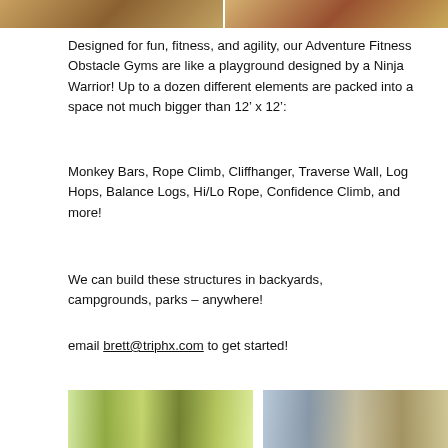[Figure (photo): Top banner showing outdoor adventure fitness obstacle gym structures, split into two photos side by side]
Designed for fun, fitness, and agility, our Adventure Fitness Obstacle Gyms are like a playground designed by a Ninja Warrior! Up to a dozen different elements are packed into a space not much bigger than 12’ x 12’:
Monkey Bars, Rope Climb, Cliffhanger, Traverse Wall, Log Hops, Balance Logs, Hi/Lo Rope, Confidence Climb, and more!
We can build these structures in backyards, campgrounds, parks – anywhere!
email brett@triphx.com to get started!
[Figure (photo): Two side-by-side photos of outdoor wooden adventure fitness obstacle gym structures in a wooded setting]